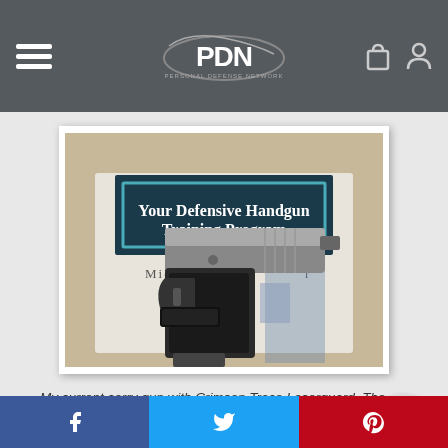PDN - Personal Defense Network
[Figure (photo): A handgun (pistol with Crimson Trace Laserguard) resting on top of a book titled 'Your Defensive Handgun Training Program' by Michael [author]. The book cover shows a person in the background.]
My current carry gun with Crimson Trace Laserguard. The laser is small, lightweight and required very little modification of my
[Figure (other): Social share bar with Facebook, Twitter, and Pinterest buttons]